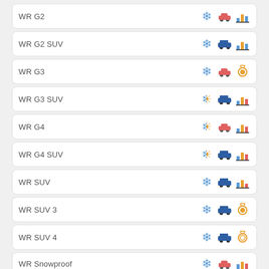WR G2
WR G2 SUV
WR G3
WR G3 SUV
WR G4
WR G4 SUV
WR SUV
WR SUV 3
WR SUV 4
WR Snowproof